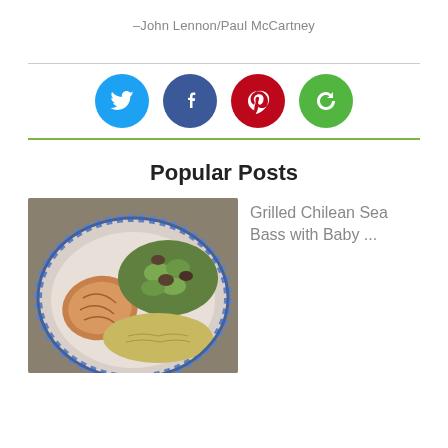–John Lennon/Paul McCartney
[Figure (infographic): Four social media icon circles in a row: Twitter (blue bird), Facebook (blue f), Pinterest (red P), Share/refresh (green circular arrow), with horizontal rules above and below]
Popular Posts
[Figure (photo): Photo of a plate of food: grilled fish fillet, stir-fried bok choy with mushrooms, and fried rice on a blue-and-white decorative plate]
Grilled Chilean Sea Bass with Baby ...